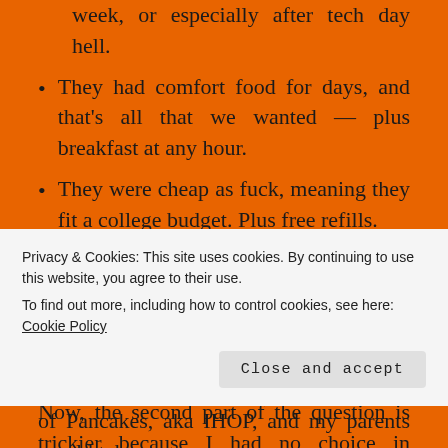week, or especially after tech day hell.
They had comfort food for days, and that's all that we wanted — plus breakfast at any hour.
They were cheap as fuck, meaning they fit a college budget. Plus free refills.
Chances were that we knew our server from school, so we could stay extra-long, got treated really well, and also got a bit generous in tipping.
Now, the second part of the question is trickier because I had no choice in restaurants as a kid. But
Privacy & Cookies: This site uses cookies. By continuing to use this website, you agree to their use.
To find out more, including how to control cookies, see here: Cookie Policy
of Pancakes, aka IHOP, and my parents would take